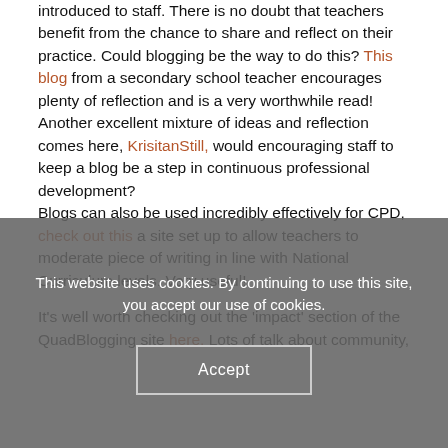introduced to staff. There is no doubt that teachers benefit from the chance to share and reflect on their practice. Could blogging be the way to do this? This blog from a secondary school teacher encourages plenty of reflection and is a very worthwhile read! Another excellent mixture of ideas and reflection comes here, KrisitanStill, would encouraging staff to keep a blog be a step in continuous professional development? Blogs can also be used incredibly effectively for CPD, check out this a site set up to allow teachers to moderate piece of writing in line with National Curriculum levels. Very useful!
It's well worth checking out the 'impact' section of the QuadBlogging site here. Lots of talk about community,
This website uses cookies. By continuing to use this site, you accept our use of cookies.